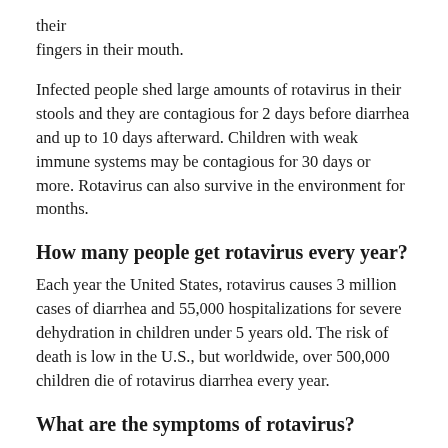their fingers in their mouth.
Infected people shed large amounts of rotavirus in their stools and they are contagious for 2 days before diarrhea and up to 10 days afterward. Children with weak immune systems may be contagious for 30 days or more. Rotavirus can also survive in the environment for months.
How many people get rotavirus every year?
Each year the United States, rotavirus causes 3 million cases of diarrhea and 55,000 hospitalizations for severe dehydration in children under 5 years old. The risk of death is low in the U.S., but worldwide, over 500,000 children die of rotavirus diarrhea every year.
What are the symptoms of rotavirus?
Rotavirus infections do not always cause symptoms,